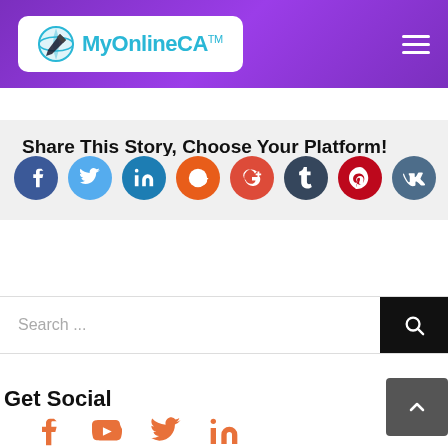[Figure (logo): MyOnlineCA logo with globe icon in purple header with hamburger menu]
Share This Story, Choose Your Platform!
[Figure (infographic): Row of social media icon circles: Facebook, Twitter, LinkedIn, Reddit, Google+, Tumblr, Pinterest, VKontakte]
Search ...
Get Social
[Figure (infographic): Social media footer icons: Facebook, YouTube, Twitter, LinkedIn in orange]